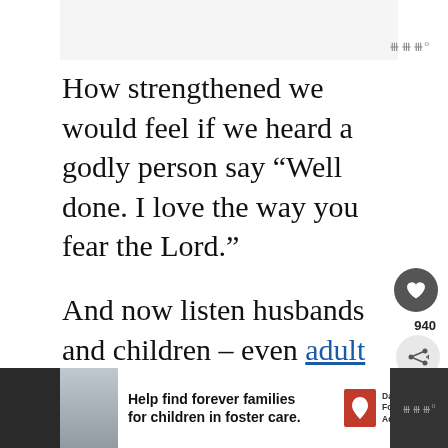[Figure (screenshot): Small logo/icon in top right area, stylized triple wave or W shape with degree symbol]
How strengthened we would feel if we heard a godly person say “Well done. I love the way you fear the Lord.”
And now listen husbands and children – even adult children — a word especially for you:
[Figure (screenshot): Heart icon button (dark circle with white heart), share icon button, count label 940, What's Next panel with thumbnail showing Beauty is Fleeting, But...]
[Figure (screenshot): Bottom advertisement bar: Help find forever families for children in foster care. Dave Thomas Foundation for Adoption logo. Boy photo on left.]